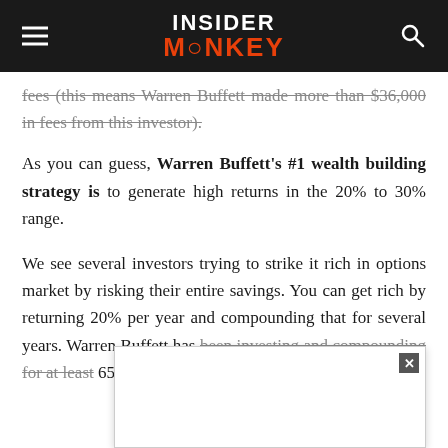INSIDER MONKEY
fees (this means Warren Buffett made more than $36,000 in fees from this investor).
As you can guess, Warren Buffett's #1 wealth building strategy is to generate high returns in the 20% to 30% range.
We see several investors trying to strike it rich in options market by risking their entire savings. You can get rich by returning 20% per year and compounding that for several years. Warren Buffett has been investing and compounding for at least 65 year